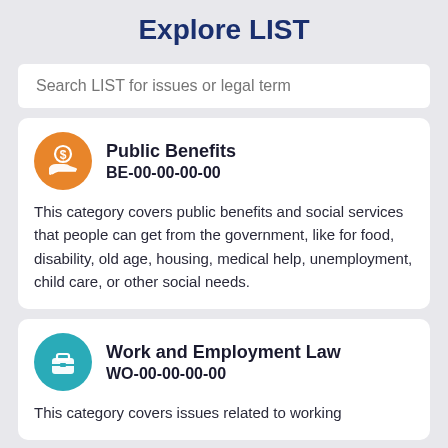Explore LIST
Search LIST for issues or legal term
Public Benefits BE-00-00-00-00
This category covers public benefits and social services that people can get from the government, like for food, disability, old age, housing, medical help, unemployment, child care, or other social needs.
Work and Employment Law WO-00-00-00-00
This category covers issues related to working